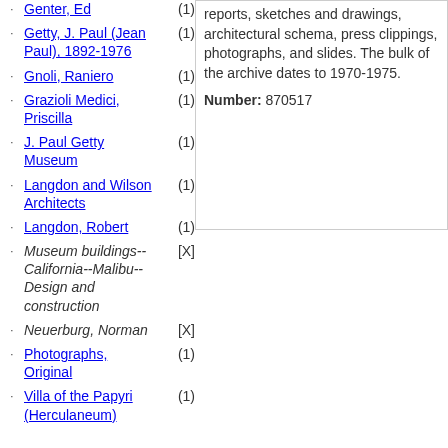Genter, Ed (1)
Getty, J. Paul (Jean Paul), 1892-1976 (1)
Gnoli, Raniero (1)
Grazioli Medici, Priscilla (1)
J. Paul Getty Museum (1)
Langdon and Wilson Architects (1)
Langdon, Robert (1)
Museum buildings--California--Malibu--Design and construction [X]
Neuerburg, Norman [X]
Photographs, Original (1)
Villa of the Papyri (Herculaneum) (1)
reports, sketches and drawings, architectural schema, press clippings, photographs, and slides. The bulk of the archive dates to 1970-1975.
Number: 870517